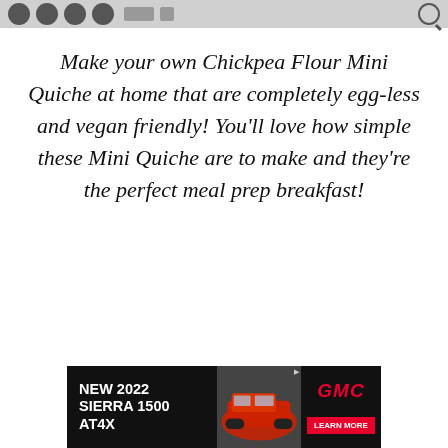[Navigation icons and search bar]
Make your own Chickpea Flour Mini Quiche at home that are completely egg-less and vegan friendly! You’ll love how simple these Mini Quiche are to make and they’re the perfect meal prep breakfast!
[Figure (other): Advertisement banner for GMC NEW 2022 SIERRA 1500 AT4X with a red truck image and LEARN MORE button]